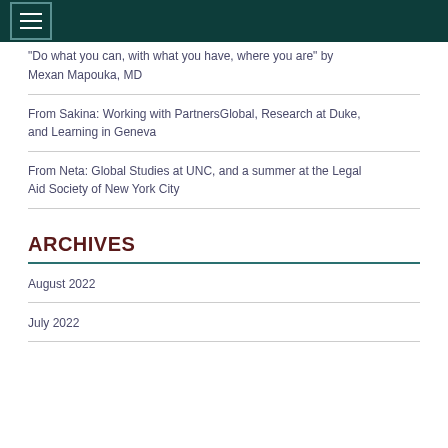"Do what you can, with what you have, where you are" by Mexan Mapouka, MD
From Sakina: Working with PartnersGlobal, Research at Duke, and Learning in Geneva
From Neta: Global Studies at UNC, and a summer at the Legal Aid Society of New York City
ARCHIVES
August 2022
July 2022